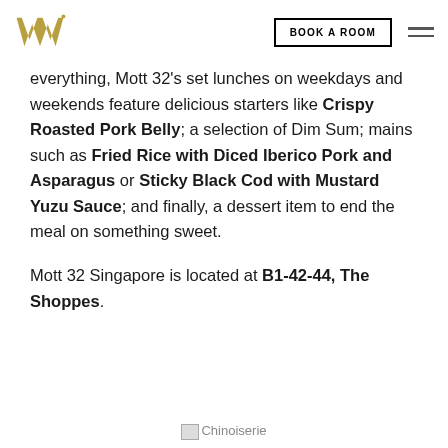W Hotels logo | BOOK A ROOM | menu icon
everything, Mott 32's set lunches on weekdays and weekends feature delicious starters like Crispy Roasted Pork Belly; a selection of Dim Sum; mains such as Fried Rice with Diced Iberico Pork and Asparagus or Sticky Black Cod with Mustard Yuzu Sauce; and finally, a dessert item to end the meal on something sweet.
Mott 32 Singapore is located at B1-42-44, The Shoppes.
Chinoiserie